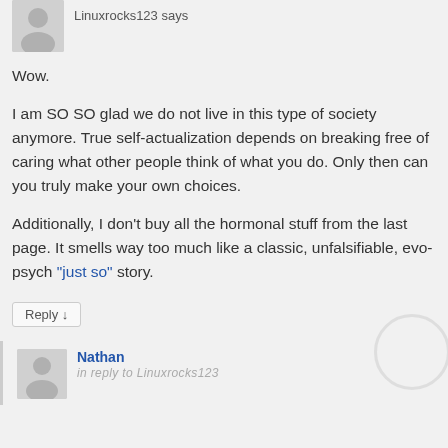[Figure (illustration): Gray avatar silhouette icon, partially cropped at top]
Linuxrocks123 says
Wow.

I am SO SO glad we do not live in this type of society anymore. True self-actualization depends on breaking free of caring what other people think of what you do. Only then can you truly make your own choices.

Additionally, I don't buy all the hormonal stuff from the last page. It smells way too much like a classic, unfalsifiable, evo-psych "just so" story.
Reply ↓
Nathan
in reply to Linuxrocks123
[Figure (illustration): Gray avatar silhouette icon for Nathan]